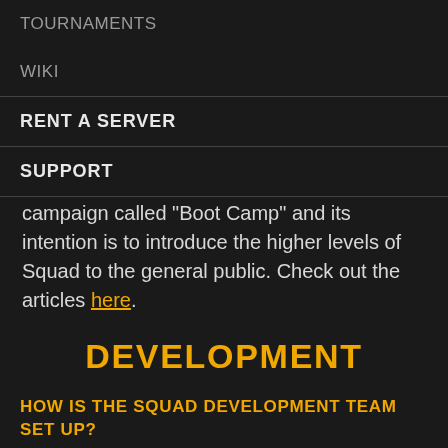TOURNAMENTS
WIKI
RENT A SERVER
SUPPORT
campaign called "Boot Camp" and its intention is to introduce the higher levels of Squad to the general public. Check out the articles here.
DEVELOPMENT
HOW IS THE SQUAD DEVELOPMENT TEAM SET UP?
We have a fairly flat structure and coordinate quite a bit